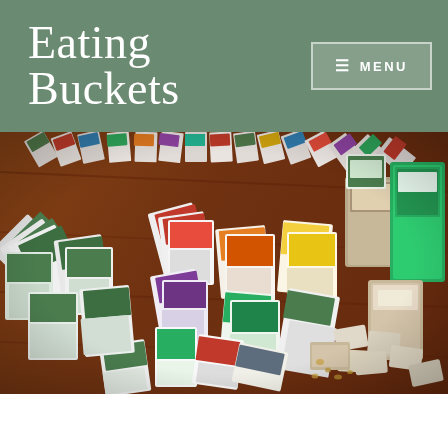Eating Buckets
[Figure (photo): A large flat lay photograph on a wooden table showing numerous seed packets and seed bags arranged in a fan/arc pattern. The seed packets are from various brands including Territorial, Burpee, and Botanical Interests, covering herbs, vegetables, and flowers. Mixed in are burlap bags and small plastic bags of seeds, as well as bulk seed packets on the right side.]